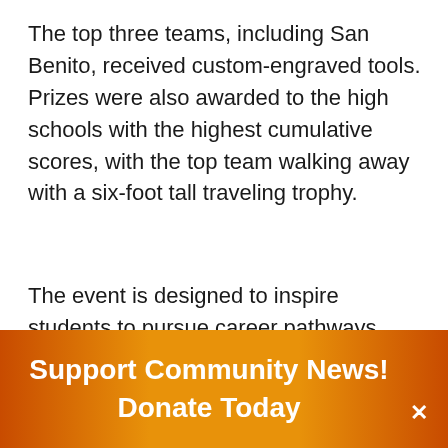The top three teams, including San Benito, received custom-engraved tools. Prizes were also awarded to the high schools with the highest cumulative scores, with the top team walking away with a six-foot tall traveling trophy.
The event is designed to inspire students to pursue career pathways through the Monterey Peninsula College Automotive Technology program into the transportation industry. MPC's Automotive Technology
Support Community News! Donate Today